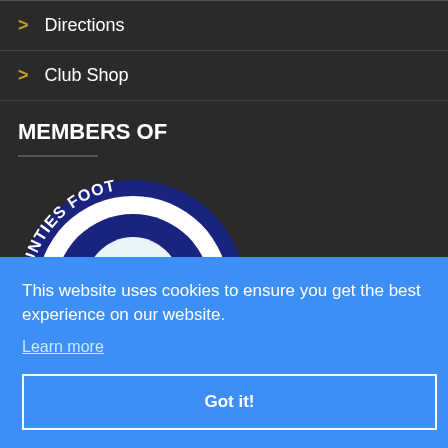Directions
Club Shop
MEMBERS OF
[Figure (logo): Partial circular logo showing 'OUNTIES FOOT' text arc at top, with a blue and white circular badge containing a map/emblem, navy blue border]
This website uses cookies to ensure you get the best experience on our website.
Learn more
Got it!